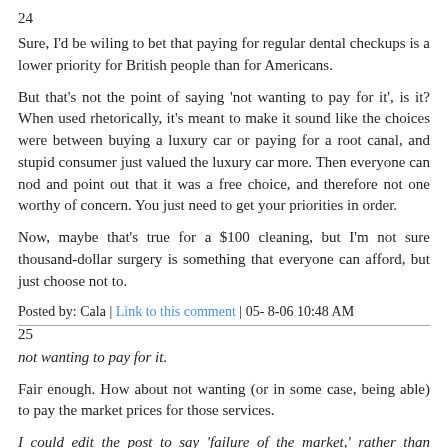24
Sure, I'd be wiling to bet that paying for regular dental checkups is a lower priority for British people than for Americans.
But that's not the point of saying 'not wanting to pay for it', is it? When used rhetorically, it's meant to make it sound like the choices were between buying a luxury car or paying for a root canal, and stupid consumer just valued the luxury car more. Then everyone can nod and point out that it was a free choice, and therefore not one worthy of concern. You just need to get your priorities in order.
Now, maybe that's true for a $100 cleaning, but I'm not sure thousand-dollar surgery is something that everyone can afford, but just choose not to.
Posted by: Cala | Link to this comment | 05- 8-06 10:48 AM
25
not wanting to pay for it.
Fair enough. How about not wanting (or in some case, being able) to pay the market prices for those services.
I could edit the post to say 'failure of the market,' rather than 'market failure,' to avoid the defined term?